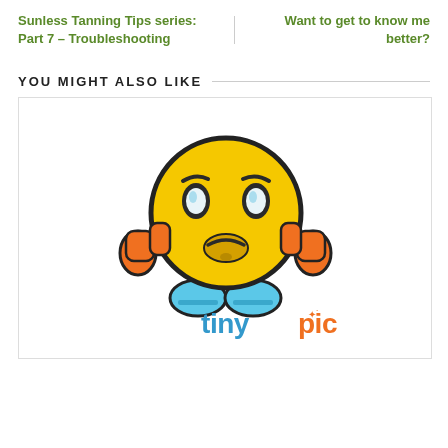Sunless Tanning Tips series: Part 7 – Troubleshooting
Want to get to know me better?
YOU MIGHT ALSO LIKE
[Figure (illustration): A worried/stressed yellow smiley emoji character with orange hands on its cheeks, a sad frown, and blue body/feet, shown above the TinyPic logo text]